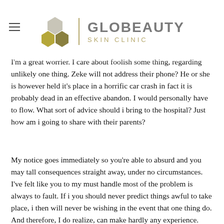GLOBEAUTY SKIN CLINIC
I'm a great worrier. I care about foolish some thing, regarding unlikely one thing. Zeke will not address their phone? He or she is however held it's place in a horrific car crash in fact it is probably dead in an effective abandon. I would personally have to flow. What sort of advice should i bring to the hospital? Just how am i going to share with their parents?
My notice goes immediately so you're able to absurd and you may tall consequences straight away, under no circumstances. I've felt like you to my must handle most of the problem is always to fault. If i you should never predict things awful to take place, i then will never be wishing in the event that one thing do. And therefore, I do realize, can make hardly any experience.
But it is how i do so. We have already consider from the you can outcomes, making my personal absolutely nothing